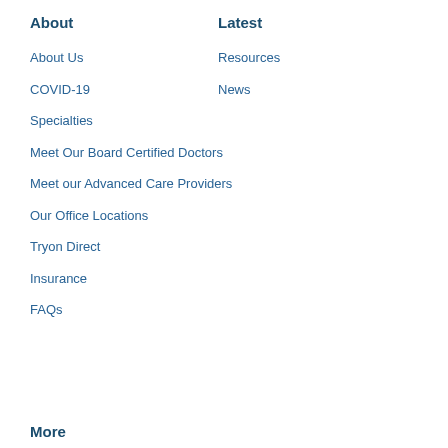About
About Us
COVID-19
Specialties
Meet Our Board Certified Doctors
Meet our Advanced Care Providers
Our Office Locations
Tryon Direct
Insurance
FAQs
Latest
Resources
News
More